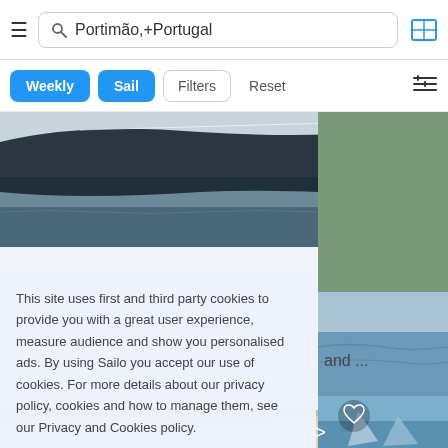[Figure (screenshot): Mobile app header with hamburger menu, search bar showing 'Portimão,+Portugal', and map icon]
[Figure (screenshot): Filter bar with Weekly (blue), Sail (blue), Filters (outline), Reset (outline) buttons, and sort icon]
[Figure (photo): Background photo of a sailing boat hull near water]
This site uses first and third party cookies to provide you with a great user experience, measure audience and show you personalised ads. By using Sailo you accept our use of cookies. For more details about our privacy policy, cookies and how to manage them, see our Privacy and Cookies policy.
Learn more
Got it!
and ...